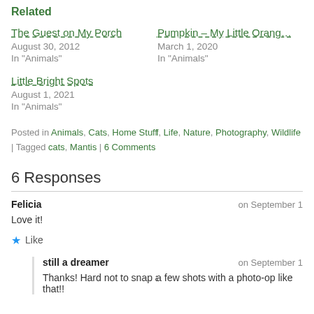Related
The Guest on My Porch
August 30, 2012
In "Animals"
Pumpkin – My Little Orang…
March 1, 2020
In "Animals"
Little Bright Spots
August 1, 2021
In "Animals"
Posted in Animals, Cats, Home Stuff, Life, Nature, Photography, Wildlife | Tagged cats, Mantis | 6 Comments
6 Responses
Felicia on September 1…
Love it!
★ Like
still a dreamer on September 1…
Thanks! Hard not to snap a few shots with a photo-op like that!!